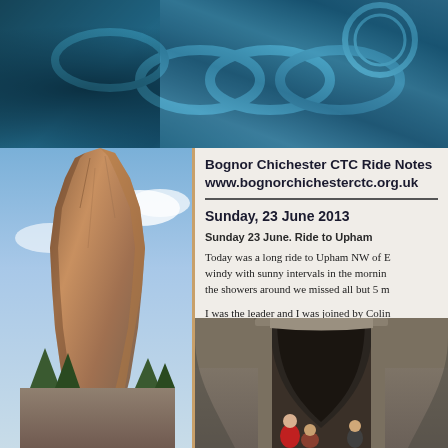[Figure (photo): Dark teal/blue close-up photo of bicycle chain and gears at the top of the page]
[Figure (photo): Tall rocky spire or pinnacle mountain formation against a blue sky, with trees at the base, in the left column]
Bognor Chichester CTC Ride Notes www.bognorchichesterctc.org.uk
Sunday, 23 June 2013
Sunday 23 June. Ride to Upham
Today was a long ride to Upham NW of E... windy with sunny intervals in the mornin... the showers around we missed all but 5 m...
I was the leader and I was joined by Colin...
[Figure (photo): Photo of people under a Gothic cathedral arch, likely Chichester Cathedral, with red-clothed figures visible]